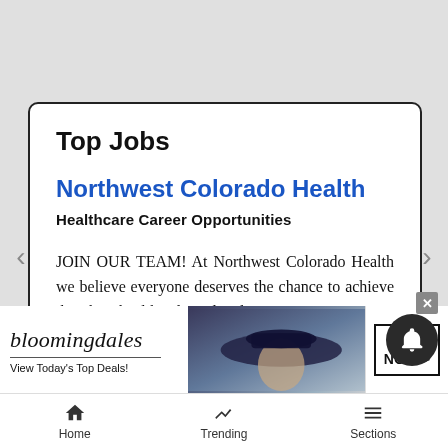Top Jobs
Northwest Colorado Health
Healthcare Career Opportunities
JOIN OUR TEAM! At Northwest Colorado Health we believe everyone deserves the chance to achieve their best health. Clinical and...
[Figure (screenshot): Bloomingdales advertisement banner: logo, tagline 'View Today's Top Deals!', photo of woman with hat, 'SHOP NOW >' button]
Home   Trending   Sections